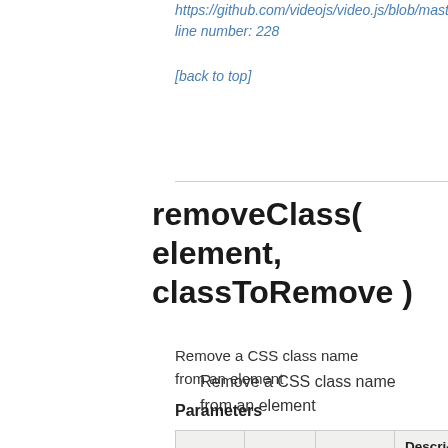https://github.com/videojs/video.js/blob/master/src... line number: 228
[back to top]
removeClass( element, classToRemove )
Remove a CSS class name from an element
Parameters
| name | Type | Required | Description |
| --- | --- | --- | --- |
| element | Element | yes | Element remove from cla name |